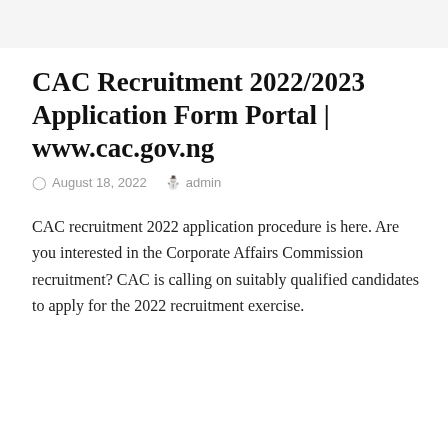CAC Recruitment 2022/2023 Application Form Portal | www.cac.gov.ng
August 18, 2022   admin
CAC recruitment 2022 application procedure is here. Are you interested in the Corporate Affairs Commission recruitment? CAC is calling on suitably qualified candidates to apply for the 2022 recruitment exercise.